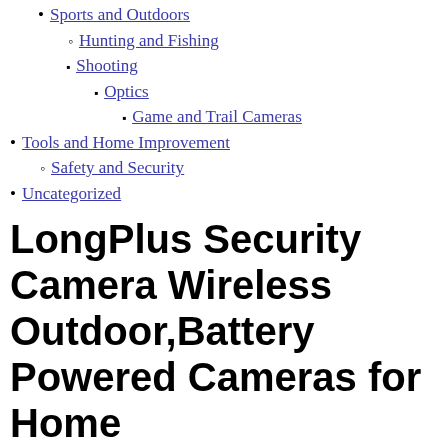Sports and Outdoors
Hunting and Fishing
Shooting
Optics
Game and Trail Cameras
Tools and Home Improvement
Safety and Security
Uncategorized
LongPlus Security Camera Wireless Outdoor,Battery Powered Cameras for Home Security,Wireless WiFi Camera with AI…
Amazon.com Price: $39.99 (as of 02/09/2022 00:00 PST- Details)
Make sure this fits by entering your model number.
❶PIR Motion Detection & AI Recognition❶LongPlus outdoor security cameras wireless with advanced AI technology. When the